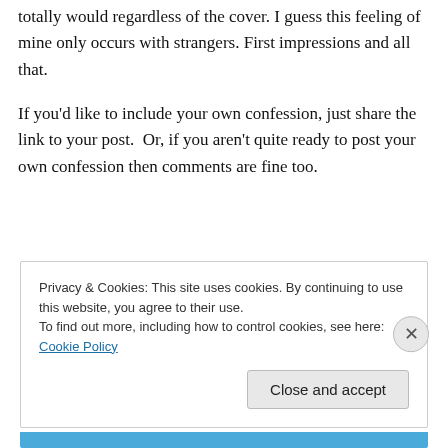totally would regardless of the cover. I guess this feeling of mine only occurs with strangers. First impressions and all that.
If you’d like to include your own confession, just share the link to your post.  Or, if you aren’t quite ready to post your own confession then comments are fine too.
Privacy & Cookies: This site uses cookies. By continuing to use this website, you agree to their use.
To find out more, including how to control cookies, see here: Cookie Policy
Close and accept